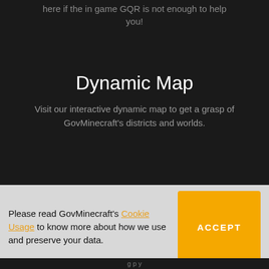here if the in game GQR is not enough to help you!
Dynamic Map
Visit our interactive dynamic map to get a grasp of GovMinecraft's districts and worlds.
Please read GovMinecraft's Cookie Usage to know more about how we use and preserve your data.
ACCEPT
g p y